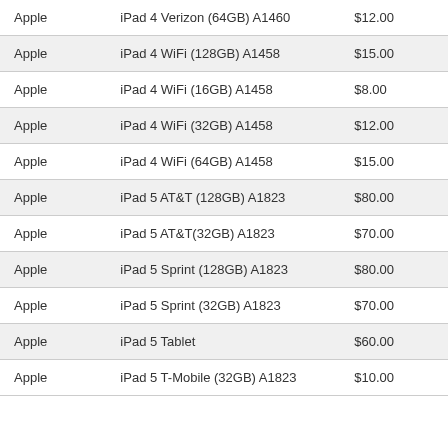| Apple | iPad 4 Verizon (64GB) A1460 | $12.00 |
| Apple | iPad 4 WiFi (128GB) A1458 | $15.00 |
| Apple | iPad 4 WiFi (16GB) A1458 | $8.00 |
| Apple | iPad 4 WiFi (32GB) A1458 | $12.00 |
| Apple | iPad 4 WiFi (64GB) A1458 | $15.00 |
| Apple | iPad 5 AT&T (128GB) A1823 | $80.00 |
| Apple | iPad 5 AT&T(32GB) A1823 | $70.00 |
| Apple | iPad 5 Sprint (128GB) A1823 | $80.00 |
| Apple | iPad 5 Sprint (32GB) A1823 | $70.00 |
| Apple | iPad 5 Tablet | $60.00 |
| Apple | iPad 5 T-Mobile (32GB) A1823 | $10.00 |